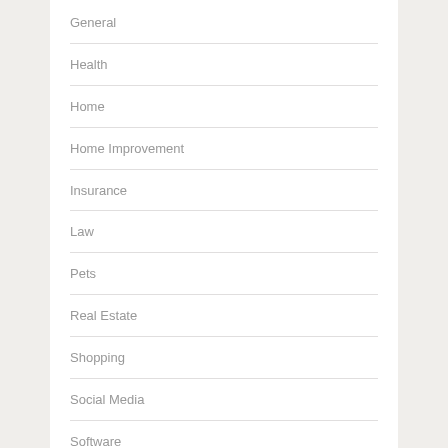General
Health
Home
Home Improvement
Insurance
Law
Pets
Real Estate
Shopping
Social Media
Software